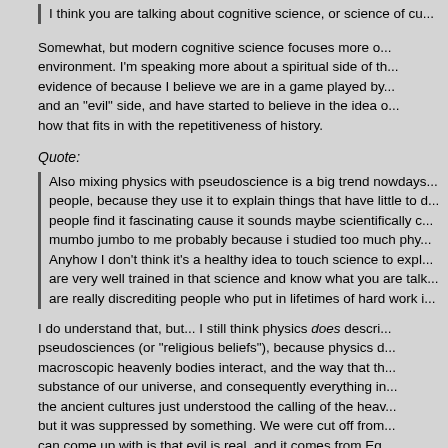I think you are talking about cognitive science, or science of cu...
Somewhat, but modern cognitive science focuses more o... environment. I'm speaking more about a spiritual side of th... evidence of because I believe we are in a game played by... and an "evil" side, and have started to believe in the idea o... how that fits in with the repetitiveness of history.
Quote:
Also mixing physics with pseudoscience is a big trend nowdays... people, because they use it to explain things that have little to d... people find it fascinating cause it sounds maybe scientifically c... mumbo jumbo to me probably because i studied too much phy... Anyhow I don't think it's a healthy idea to touch science to expl... are very well trained in that science and know what you are talk... are really discrediting people who put in lifetimes of hard work i...
I do understand that, but... I still think physics does descri... pseudosciences (or "religious beliefs"), because physics d... macroscopic heavenly bodies interact, and the way that th... substance of our universe, and consequently everything in... the ancient cultures just understood the calling of the heav... but it was suppressed by something. We were cut off from... can come up with is that evil is real, and it comes from Eg...
I'm most interested in a casual discussion about the topic...